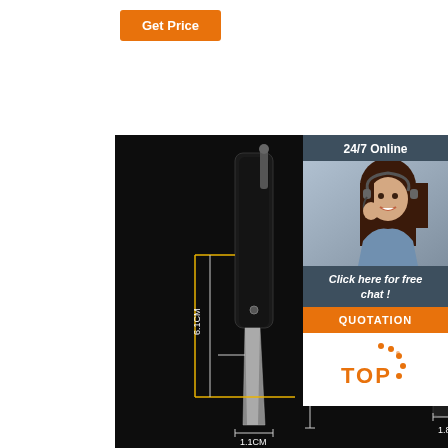[Figure (other): Orange 'Get Price' button at top left area]
[Figure (photo): Product photo of a folding knife with measurement annotations showing 14.1CM length, 1.1CM width, 6.1CM handle, and 1.8CM sheath width, on dark background]
[Figure (photo): Sidebar with '24/7 Online' text, customer service representative photo with headset, 'Click here for free chat!' text, orange QUOTATION button, and orange TOP badge with dots]